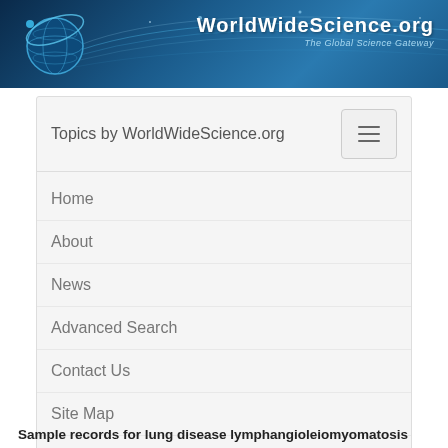[Figure (screenshot): WorldWideScience.org website header banner with globe graphic and site name]
Topics by WorldWideScience.org
Home
About
News
Advanced Search
Contact Us
Site Map
Help
Sample records for lung disease lymphangioleiomyomatosis